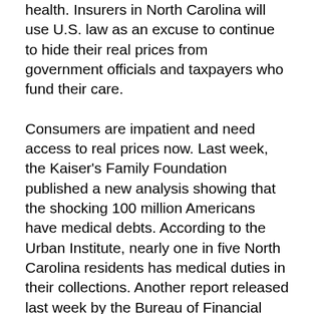health. Insurers in North Carolina will use U.S. law as an excuse to continue to hide their real prices from government officials and taxpayers who fund their care.
Consumers are impatient and need access to real prices now. Last week, the Kaiser's Family Foundation published a new analysis showing that the shocking 100 million Americans have medical debts. According to the Urban Institute, nearly one in five North Carolina residents has medical duties in their collections. Another report released last week by the Bureau of Financial Protection for Consumers found that military members regularly had failed loans due to hospital code updates and fraudulent billing. Employers who provide health care to most